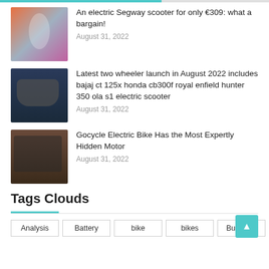An electric Segway scooter for only €309: what a bargain! — August 31, 2022
Latest two wheeler launch in August 2022 includes bajaj ct 125x honda cb300f royal enfield hunter 350 ola s1 electric scooter — August 31, 2022
Gocycle Electric Bike Has the Most Expertly Hidden Motor — August 31, 2022
Tags Clouds
Analysis   Battery   bike   bikes   Business